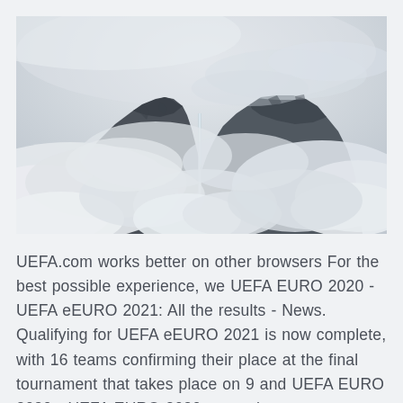[Figure (photo): Black and white photograph of two rocky mountain peaks surrounded by thick clouds and mist, with a waterfall visible between the peaks.]
UEFA.com works better on other browsers For the best possible experience, we UEFA EURO 2020 - UEFA eEURO 2021: All the results - News. Qualifying for UEFA eEURO 2021 is now complete, with 16 teams confirming their place at the final tournament that takes place on 9 and UEFA EURO 2020 - UEFA EURO 2020: meet the